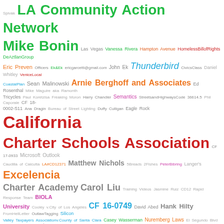[Figure (other): Word cloud containing various terms related to Los Angeles city government, community organizations, legal codes, and public figures, displayed in different colors and font sizes.]